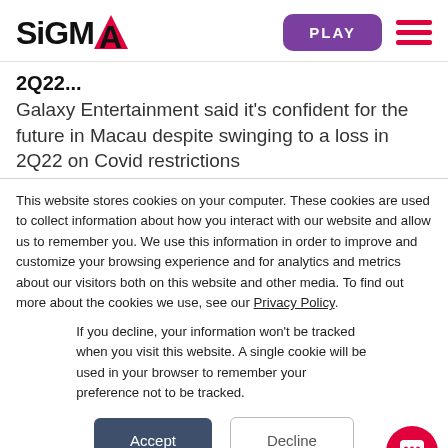SiGMA — PLAY [menu]
2Q22...
Galaxy Entertainment said it's confident for the future in Macau despite swinging to a loss in 2Q22 on Covid restrictions
This website stores cookies on your computer. These cookies are used to collect information about how you interact with our website and allow us to remember you. We use this information in order to improve and customize your browsing experience and for analytics and metrics about our visitors both on this website and other media. To find out more about the cookies we use, see our Privacy Policy.
If you decline, your information won't be tracked when you visit this website. A single cookie will be used in your browser to remember your preference not to be tracked.
Accept  Decline